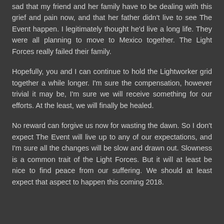sad that my friend and her family have to be dealing with this grief and pain now, and that her father didn't live to see The Event happen. I legitimately thought he'd live a long life. They were all planning to move to Mexico together. The Light Forces really failed their family.
Hopefully, you and I can continue to hold the Lightworker grid together a while longer. I'm sure the compensation, however trivial it may be, I'm sure we will receive something for our efforts. At the least, we will finally be healed.
No reward can forgive us now for wasting the dawn. So I don't expect The Event will live up to any of our expectations, and I'm sure all the changes will be slow and drawn out. Slowness is a common trait of the Light Forces. But it will at least be nice to find peace from our suffering. We should at least expect that aspect to happen this coming 2018.
(partial text at bottom)